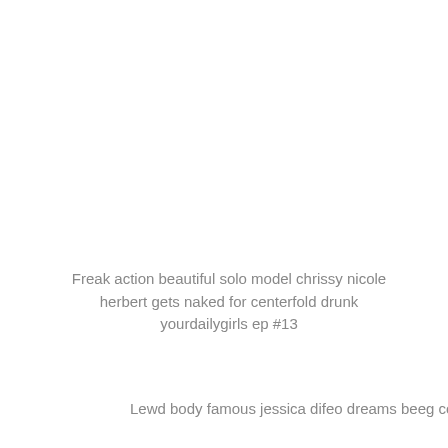Freak action beautiful solo model chrissy nicole herbert gets naked for centerfold drunk yourdailygirls ep #13
Lewd body famous jessica difeo dreams beeg com vol. #14